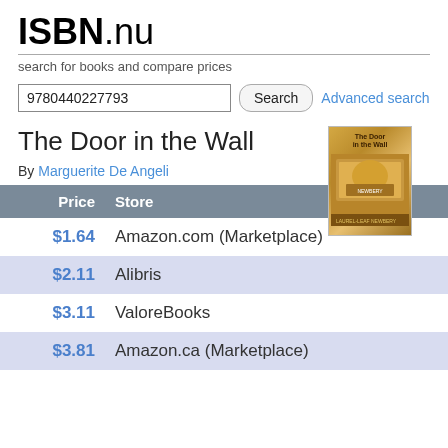ISBN.nu
search for books and compare prices
9780440227793
The Door in the Wall
[Figure (illustration): Book cover of The Door in the Wall, golden/illustrated cover]
By Marguerite De Angeli
| Price | Store |
| --- | --- |
| $1.64 | Amazon.com (Marketplace) |
| $2.11 | Alibris |
| $3.11 | ValoreBooks |
| $3.81 | Amazon.ca (Marketplace) |